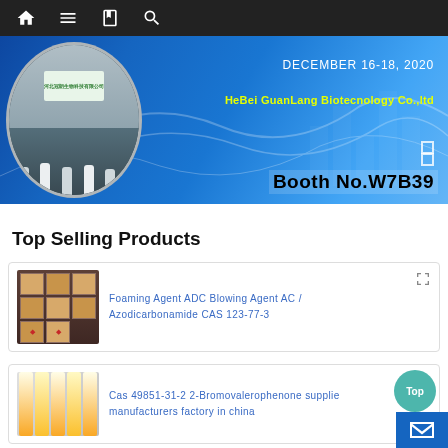[Figure (screenshot): Navigation bar with home, menu, notebook, and search icons on dark background]
[Figure (photo): Banner image for HeBei GuanLang Biotecnology Co.,ltd exhibition at December 16-18, 2020, Booth No.W7B39]
Top Selling Products
[Figure (photo): Product card: Foaming Agent ADC Blowing Agent AC / Azodicarbonamide CAS 123-77-3 with stacked boxes image]
[Figure (photo): Product card: Cas 49851-31-2 2-Bromovalerophenone supplier manufacturers factory in china with yellow tubes image]